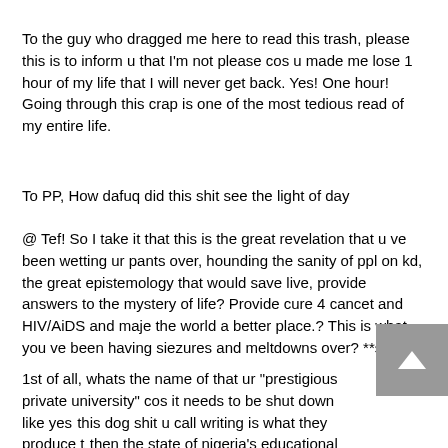To the guy who dragged me here to read this trash, please this is to inform u that I'm not please cos u made me lose 1 hour of my life that I will never get back. Yes! One hour! Going through this crap is one of the most tedious read of my entire life.
To PP, How dafuq did this shit see the light of day
@ Tef! So I take it that this is the great revelation that u ve been wetting ur pants over, hounding the sanity of ppl on kd, the great epistemology that would save live, provide answers to the mystery of life? Provide cure 4 cancet and HIV/AiDS and maje the world a better place.? This is what you ve been having siezures and meltdowns over? **sigh****
1st of all, whats the name of that ur "prestigious private university" cos it needs to be shut down like yest this dog shit u call writing is what they produce t then the state of nigeria's educational system is than we all thought.